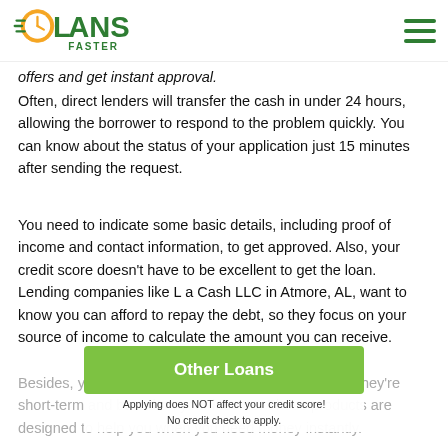LOANS FASTER (logo) | hamburger menu
offers and get instant approval.
Often, direct lenders will transfer the cash in under 24 hours, allowing the borrower to respond to the problem quickly. You can know about the status of your application just 15 minutes after sending the request.
You need to indicate some basic details, including proof of income and contact information, to get approved. Also, your credit score doesn't have to be excellent to get the loan. Lending companies like L a Cash LLC in Atmore, AL, want to know you can afford to repay the debt, so they focus on your source of income to calculate the amount you can receive.
[Figure (other): Green button labeled 'Other Loans' with subtext 'Applying does NOT affect your credit score! No credit check to apply.']
Besides, you don't need collateral for most deals, as they're short-term and based on your income. These products are designed to help you when you need money instantly.